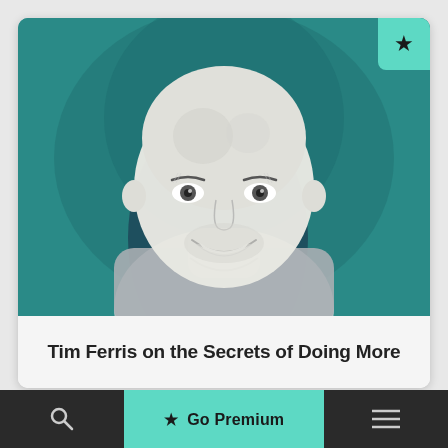[Figure (illustration): Illustrated portrait of a smiling bald man in a grey t-shirt against a teal/dark green painted background, rendered in a black-and-white sketch style over the colored background. A teal star-badge is in the top-right corner of the image area.]
Tim Ferris on the Secrets of Doing More
★  Go Premium